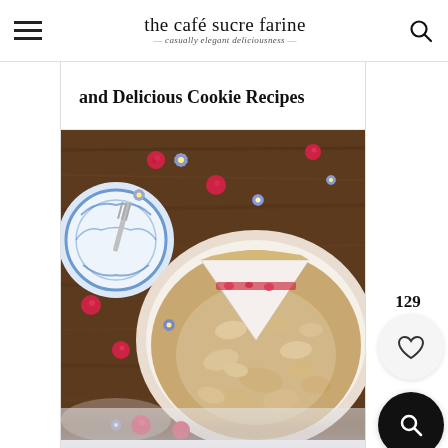the café sucre farine — casually elegant deliciousness —
and Delicious Cookie Recipes
[Figure (photo): Overhead view of a round crumble-topped cookie or tart on a beige plate, sliced to show raspberry filling, surrounded by fresh raspberries, small blue flowers, and a blue-and-white patterned plate with a fork, on a dark wooden surface dusted with powdered sugar.]
129